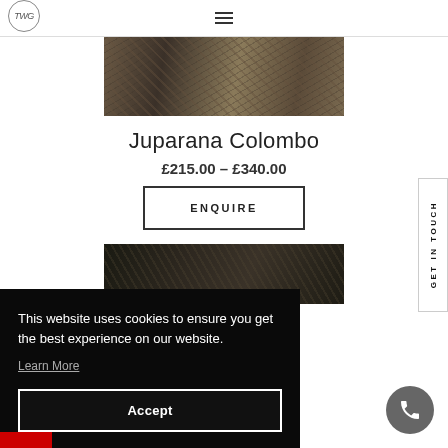TMG logo and hamburger menu navigation
[Figure (photo): Close-up photo of Juparana Colombo granite stone surface showing brown, grey and beige mineral patterns]
Juparana Colombo
£215.00 – £340.00
ENQUIRE
[Figure (photo): Close-up photo of dark granite stone surface]
GET IN TOUCH
This website uses cookies to ensure you get the best experience on our website.
Learn More
Accept